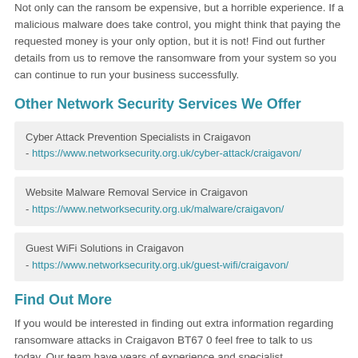Not only can the ransom be expensive, but a horrible experience. If a malicious malware does take control, you might think that paying the requested money is your only option, but it is not! Find out further details from us to remove the ransomware from your system so you can continue to run your business successfully.
Other Network Security Services We Offer
Cyber Attack Prevention Specialists in Craigavon - https://www.networksecurity.org.uk/cyber-attack/craigavon/
Website Malware Removal Service in Craigavon - https://www.networksecurity.org.uk/malware/craigavon/
Guest WiFi Solutions in Craigavon - https://www.networksecurity.org.uk/guest-wifi/craigavon/
Find Out More
If you would be interested in finding out extra information regarding ransomware attacks in Craigavon BT67 0 feel free to talk to us today. Our team have years of experience and specialist